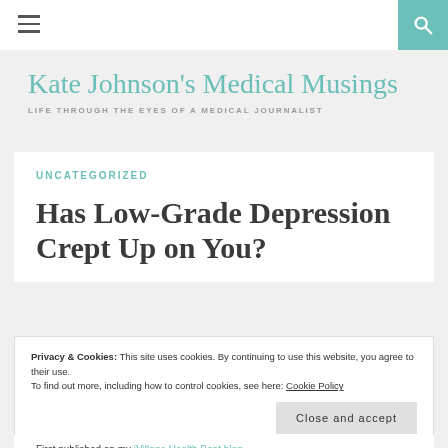≡ [search icon]
Kate Johnson's Medical Musings
LIFE THROUGH THE EYES OF A MEDICAL JOURNALIST
UNCATEGORIZED
Has Low-Grade Depression Crept Up on You?
Privacy & Cookies: This site uses cookies. By continuing to use this website, you agree to their use. To find out more, including how to control cookies, see here: Cookie Policy
Close and accept
First published on my iVillage Health Beat blog